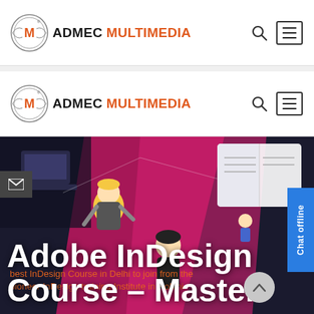[Figure (logo): ADMEC MULTIMEDIA logo with circular M emblem - first navbar]
[Figure (logo): ADMEC MULTIMEDIA logo with circular M emblem - second navbar (sticky)]
[Figure (illustration): Hero banner with illustrated students and design elements on dark/pink gradient background. Text overlay: 'best InDesign Course in Delhi to join from the pioneer InDesign training Institute in Rohini' and large white heading 'Adobe InDesign Course – Master']